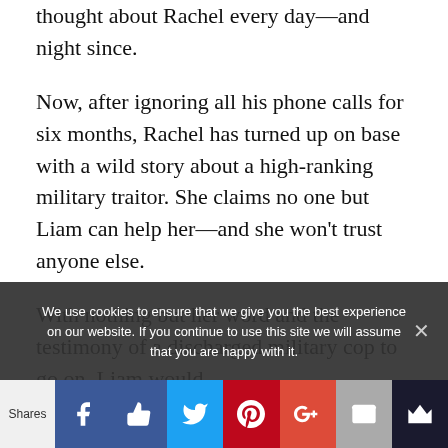thought about Rachel every day—and night since.
Now, after ignoring all his phone calls for six months, Rachel has turned up on base with a wild story about a high-ranking military traitor. She claims no one but Liam can help her—and she won't trust anyone else.
With nothing but her word and the testimony of a discharged military cop to go on, Liam would
We use cookies to ensure that we give you the best experience on our website. If you continue to use this site we will assume that you are happy with it.
Shares | Facebook | Like | Twitter | Pinterest | Google+ | Email | Bookmark